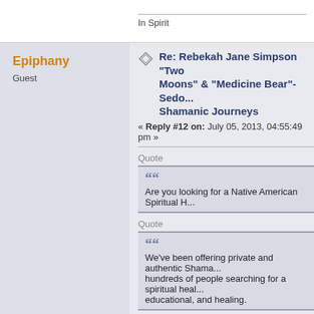In Spirit
Epiphany
Guest
Re: Rebekah Jane Simpson "Two Moons" & "Medicine Bear"- Sedo... Shamanic Journeys
« Reply #12 on: July 05, 2013, 04:55:49 pm »
Quote
Are you looking for a Native American Spiritual H...
Quote
We've been offering private and authentic Shama... hundreds of people searching for a spiritual heal... educational, and healing.
http://sedonashamanicjourneys.com/
Quote
*Even though these are "private tours" there may...